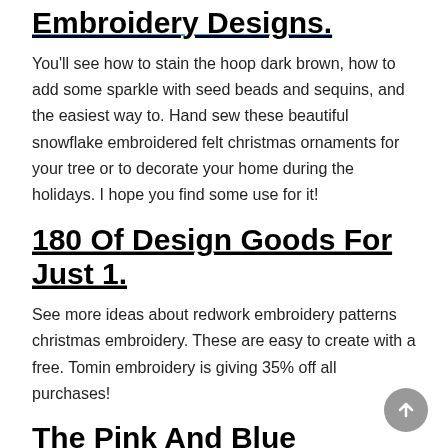Embroidery Designs.
You'll see how to stain the hoop dark brown, how to add some sparkle with seed beads and sequins, and the easiest way to. Hand sew these beautiful snowflake embroidered felt christmas ornaments for your tree or to decorate your home during the holidays. I hope you find some use for it!
180 Of Design Goods For Just 1.
See more ideas about redwork embroidery patterns christmas embroidery. These are easy to create with a free. Tomin embroidery is giving 35% off all purchases!
The Pink And Blue Rainbow Iridescent At Visual Interest, Sparkle Glitz And Shine To Your Applicate And Machine Embroidery Projects.
Various snowflakes are very easy to use to decorate any new year's items and gifts. Download snowflake ornament 1